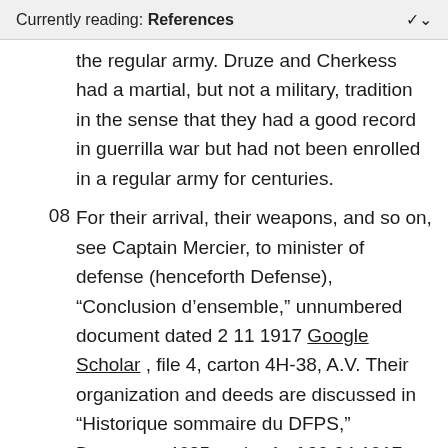Currently reading: References
the regular army. Druze and Cherkess had a martial, but not a military, tradition in the sense that they had a good record in guerrilla war but had not been enrolled in a regular army for centuries.
08  For their arrival, their weapons, and so on, see Captain Mercier, to minister of defense (henceforth Defense), “Conclusion d’ensemble,” unnumbered document dated 2 11 1917 Google Scholar , file 4, carton 4H-38, A.V. Their organization and deeds are discussed in “Historique sommaire du DFPS,” Document 4685, order 1 of 20 04 1917 Google Scholar , file 1, carton 4H-1, A.V.